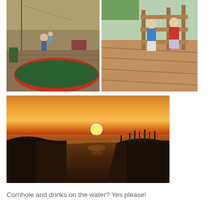[Figure (photo): Two people standing on a wooden deck next to a colorful boat hull, outdoor seating area visible in background]
[Figure (photo): Two children standing at a wooden railing/fence on a deck, one in blue shirt and one in red sweater]
[Figure (photo): Sunset over water with marshland silhouette, orange and golden sky, reflections on calm water]
Cornhole and drinks on the water? Yes please!